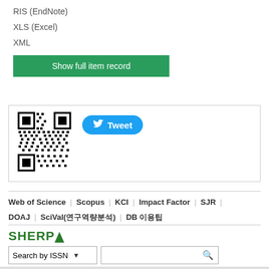RIS (EndNote)
XLS (Excel)
XML
Show full item record
[Figure (other): QR code alongside a Twitter Tweet button]
Web of Science | Scopus | KCI | Impact Factor | SJR | DOAJ | SciVal(연구역량분석) | DB 이용팁
[Figure (logo): SHERPA logo in green with triangle]
Search by ISSN (dropdown) with search input field